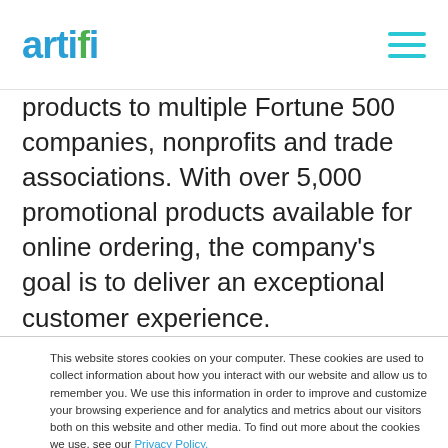artifi
products to multiple Fortune 500 companies, nonprofits and trade associations. With over 5,000 promotional products available for online ordering, the company's goal is to deliver an exceptional customer experience.
This website stores cookies on your computer. These cookies are used to collect information about how you interact with our website and allow us to remember you. We use this information in order to improve and customize your browsing experience and for analytics and metrics about our visitors both on this website and other media. To find out more about the cookies we use, see our Privacy Policy.
Accept